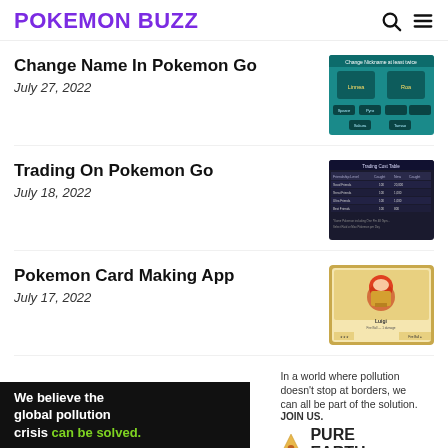POKEMON BUZZ
Change Name In Pokemon Go
July 27, 2022
[Figure (screenshot): Screenshot of Pokemon Go name change interface showing Eevee evolutions including Linnea and Rea options, with Sparce, Pyro and other nicknames listed]
Trading On Pokemon Go
July 18, 2022
[Figure (screenshot): Screenshot of Pokemon Go trading stardust cost table showing different friendship levels and trade costs]
Pokemon Card Making App
July 17, 2022
[Figure (screenshot): Screenshot of a Pokemon card featuring Mario character with Fire Ball attack]
[Figure (infographic): Pure Earth advertisement banner: 'We believe the global pollution crisis can be solved. In a world where pollution doesn't stop at borders, we can all be part of the solution. JOIN US.']